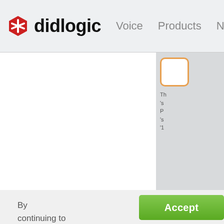[Figure (logo): Didlogic logo: red hexagon with white asterisk, followed by bold text 'didlogic']
Voice   Products   Ne
[Figure (screenshot): White main content area with gray sidebar on right. Sidebar shows an orange-bordered box and partially visible text lines starting with 'Th', "'s", 'P', "'s", "'1"]
By continuing to use our site, you agree to our Terms of Service and Privacy Policy. You can learn more about
[Figure (other): Green 'Accept' button in bottom right area]